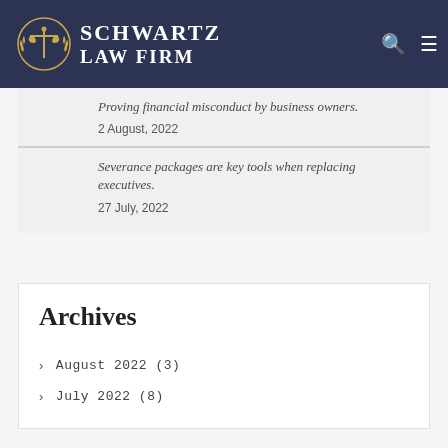Schwartz Law Firm
Proving financial misconduct by business owners.
2 August, 2022
Severance packages are key tools when replacing executives.
27 July, 2022
Archives
August 2022 (3)
July 2022 (8)